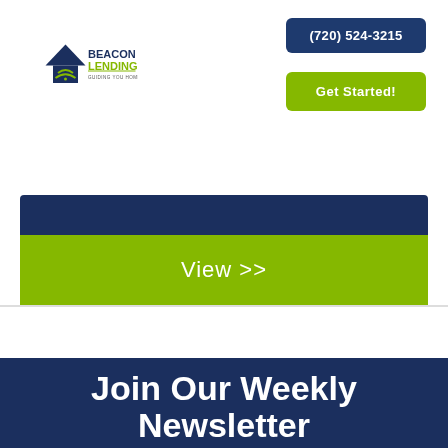[Figure (logo): Beacon Lending logo with house icon and wifi signal, text reads BEACON LENDING GUIDING YOU HOME]
(720) 524-3215
Get Started!
[Figure (screenshot): Dark navy bar at top of content card (partially visible)]
View >>
Join Our Weekly Newsletter
Stay up to date with the latest news from the